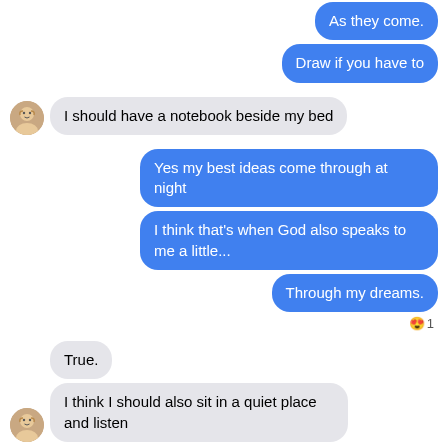[Figure (screenshot): Mobile chat conversation showing message bubbles. Blue bubbles on right (sender), gray bubbles on left (recipient with avatar). Messages: 'As they come.', 'Draw if you have to', 'I should have a notebook beside my bed', 'Yes my best ideas come through at night', 'I think that’s when God also speaks to me a little...', 'Through my dreams.' (with heart-eyes emoji reaction '1'), 'True.', 'I think I should also sit in a quiet place and listen', 'Yes.']